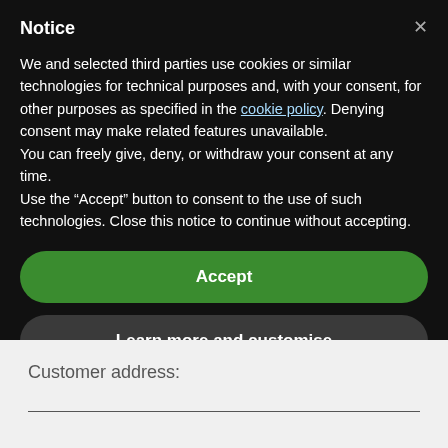Notice
We and selected third parties use cookies or similar technologies for technical purposes and, with your consent, for other purposes as specified in the cookie policy. Denying consent may make related features unavailable.
You can freely give, deny, or withdraw your consent at any time.
Use the “Accept” button to consent to the use of such technologies. Close this notice to continue without accepting.
Accept
Learn more and customise
Customer address: